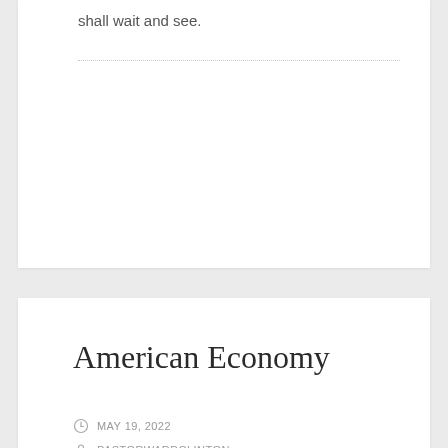shall wait and see.
American Economy
MAY 19, 2022
PASTORWARDCLINTON
LEAVE A COMMENT
[Figure (photo): Photo with watermark/logo overlay showing a dramatic scene, partially visible at bottom of page]